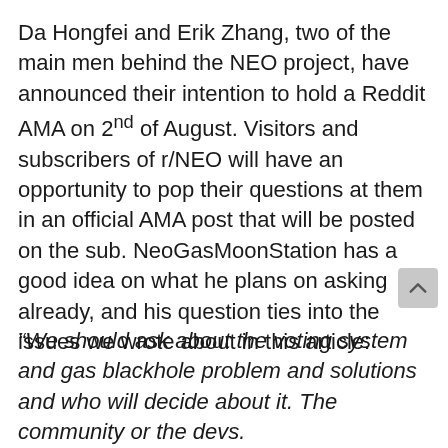Da Hongfei and Erik Zhang, two of the main men behind the NEO project, have announced their intention to hold a Reddit AMA on 2nd of August. Visitors and subscribers of r/NEO will have an opportunity to pop their questions at them in an official AMA post that will be posted on the sub. NeoGasMoonStation has a good idea on what he plans on asking already, and his question ties into the issues we wrote about in this article:
“We should ask about the voting system and gas blackhole problem and solutions and who will decide about it. The community or the devs.